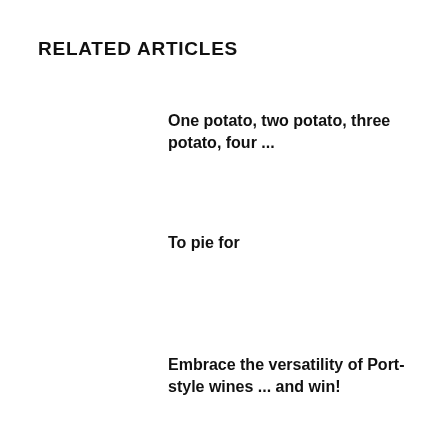RELATED ARTICLES
One potato, two potato, three potato, four ...
To pie for
Embrace the versatility of Port-style wines ... and win!